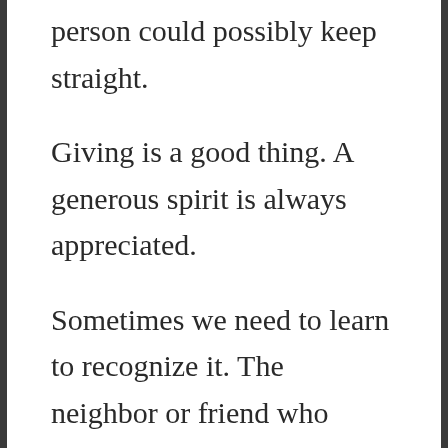person could possibly keep straight.
Giving is a good thing. A generous spirit is always appreciated.
Sometimes we need to learn to recognize it. The neighbor or friend who patiently listens to